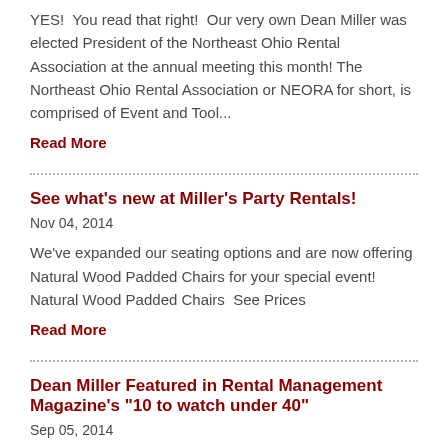YES!  You read that right!  Our very own Dean Miller was elected President of the Northeast Ohio Rental Association at the annual meeting this month! The Northeast Ohio Rental Association or NEORA for short, is comprised of Event and Tool...
Read More
See what's new at Miller's Party Rentals!
Nov 04, 2014
We've expanded our seating options and are now offering Natural Wood Padded Chairs for your special event! Natural Wood Padded Chairs  See Prices
Read More
Dean Miller Featured in Rental Management Magazine's "10 to watch under 40"
Sep 05, 2014